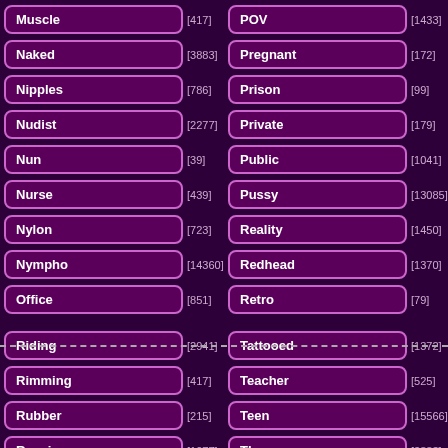Muscle [417]
POV [1433]
Naked [3883]
Pregnant [172]
Nipples [786]
Prison [99]
Nudist [2277]
Private [179]
Nun [39]
Public [1041]
Nurse [439]
Pussy [13085]
Nylon [723]
Reality [1450]
Nympho [14360]
Redhead [1370]
Office [851]
Retro [79]
Riding [2941]
Tattooed [1372]
Rimming [417]
Teacher [525]
Rubber [215]
Teen [15566]
Russian [1077]
Threesome [3883]